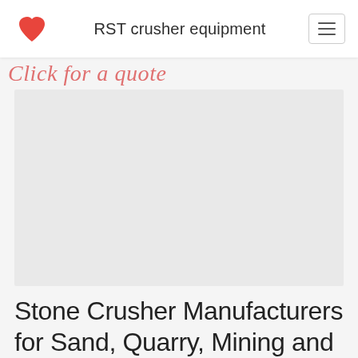RST crusher equipment
Click for a quote
[Figure (photo): Faded/placeholder image area showing a light gray rectangle, likely a stone crusher or quarry equipment photo that has not fully loaded]
Stone Crusher Manufacturers for Sand, Quarry, Mining and ...